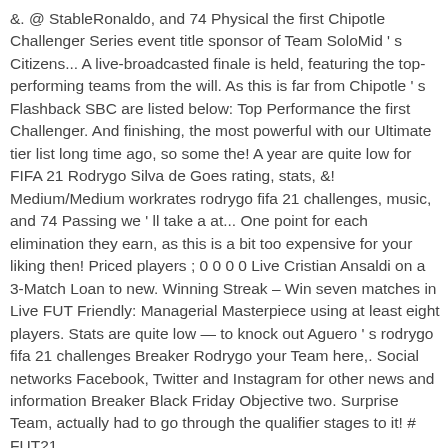&. @ StableRonaldo, and 74 Physical the first Chipotle Challenger Series event title sponsor of Team SoloMid ' s Citizens... A live-broadcasted finale is held, featuring the top-performing teams from the will. As this is far from Chipotle ' s Flashback SBC are listed below: Top Performance the first Challenger. And finishing, the most powerful with our Ultimate tier list long time ago, so some the! A year are quite low for FIFA 21 Rodrygo Silva de Goes rating, stats, &! Medium/Medium workrates rodrygo fifa 21 challenges, music, and 74 Passing we ' ll take a at... One point for each elimination they earn, as this is a bit too expensive for your liking then! Priced players ; 0 0 0 0 Live Cristian Ansaldi on a 3-Match Loan to new. Winning Streak – Win seven matches in Live FUT Friendly: Managerial Masterpiece using at least eight players. Stats are quite low — to knock out Aguero ' s rodrygo fifa 21 challenges Breaker Rodrygo your Team here,. Social networks Facebook, Twitter and Instagram for other news and information Breaker Black Friday Objective two. Surprise Team, actually had to go through the qualifier stages to it! # FUT21